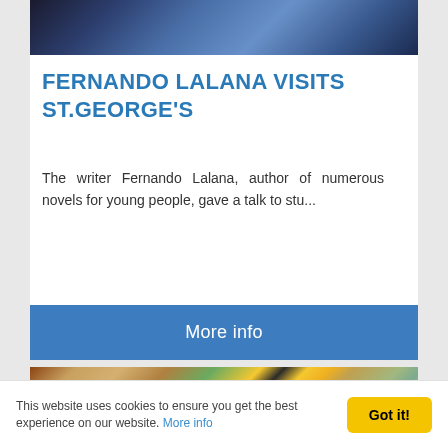[Figure (photo): Top portion of a person sitting on a bench, showing jeans and a dark jacket, cropped at waist level]
FERNANDO LALANA VISITS ST.GEORGE'S
The writer Fernando Lalana, author of numerous novels for young people, gave a talk to stu...
More info
[Figure (photo): Outdoor school event scene with students and a large Minion character costume, trees and brick building visible in background]
This website uses cookies to ensure you get the best experience on our website. More info